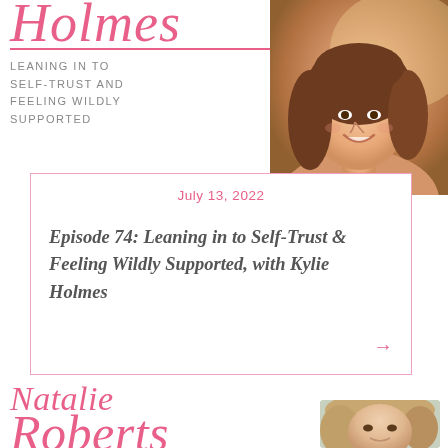Holmes
LEANING IN TO SELF-TRUST AND FEELING WILDLY SUPPORTED
[Figure (photo): Portrait photo of Kylie Holmes, a woman with brown hair smiling outdoors with warm golden light background]
July 13, 2022
Episode 74: Leaning in to Self-Trust & Feeling Wildly Supported, with Kylie Holmes
Natalie Roberts
THE SPIRIT OF
[Figure (photo): Portrait photo of Natalie Roberts, partially visible at bottom of page]